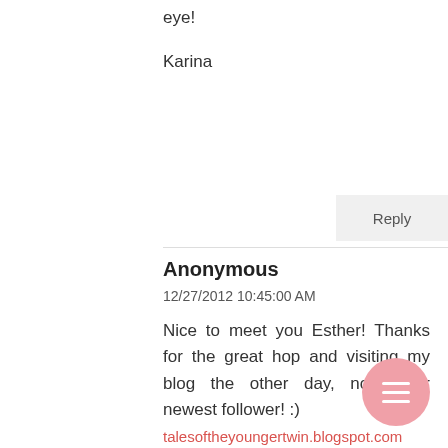eye!
Karina
Reply
Anonymous
12/27/2012 10:45:00 AM
Nice to meet you Esther! Thanks for the great hop and visiting my blog the other day, now your newest follower! :)
talesoftheyoungertwin.blogspot.com
Reply
Diana Chastain
12/27/2012 11:58:00 AM